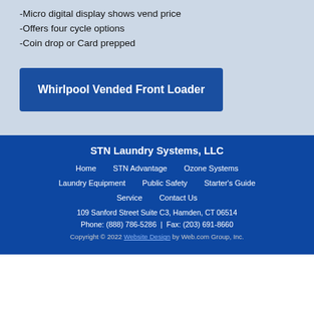-Micro digital display shows vend price
-Offers four cycle options
-Coin drop or Card prepped
Whirlpool Vended Front Loader
STN Laundry Systems, LLC
Home | STN Advantage | Ozone Systems | Laundry Equipment | Public Safety | Starter's Guide | Service | Contact Us
109 Sanford Street Suite C3, Hamden, CT 06514
Phone: (888) 786-5286  |  Fax: (203) 691-8660
Copyright © 2022 Website Design by Web.com Group, Inc.